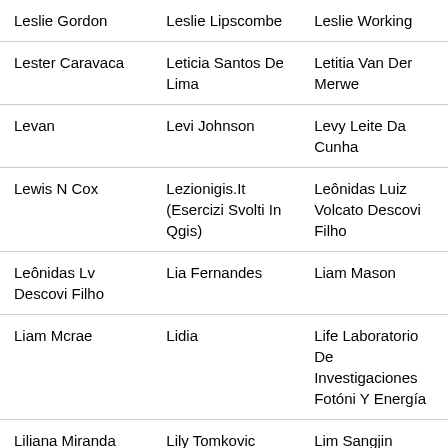| Leslie Gordon | Leslie Lipscombe | Leslie Working |
| Lester Caravaca | Leticia Santos De Lima | Letitia Van Der Merwe |
| Levan | Levi Johnson | Levy Leite Da Cunha |
| Lewis N Cox | Lezionigis.It (Esercizi Svolti In Qgis) | Leônidas Luiz Volcato Descovi Filho |
| Leônidas Lv Descovi Filho | Lia Fernandes | Liam Mason |
| Liam Mcrae | Lidia | Life Laboratorio De Investigaciones Fotóni Y Energía |
| Liliana Miranda Aragon | Lily Tomkovic | Lim Sangjin |
| Lina Ejeilat | Lina Pfeifer | Linda Moore |